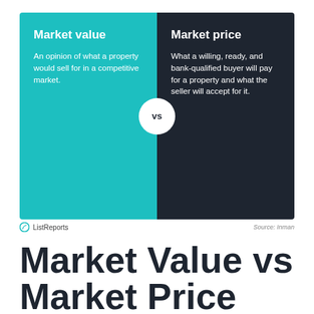[Figure (infographic): Two-panel comparison infographic. Left teal panel: 'Market value' - An opinion of what a property would sell for in a competitive market. Right dark panel: 'Market price' - What a willing, ready, and bank-qualified buyer will pay for a property and what the seller will accept for it. A white circle with 'vs' overlaps the two panels at center.]
ListReports  Source: Inman
Market Value vs Market Price